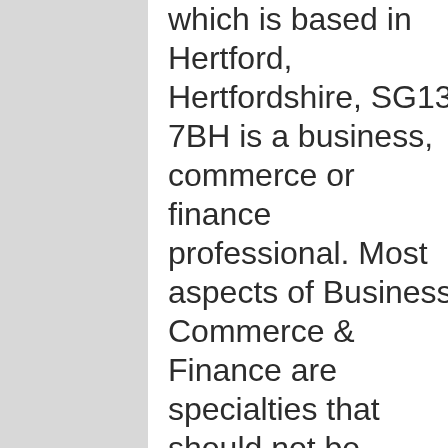which is based in Hertford, Hertfordshire, SG13 7BH is a business, commerce or finance professional. Most aspects of Business Commerce & Finance are specialties that should not be attempted by inexperienced people. For your business expenditure to be successful, you MUST